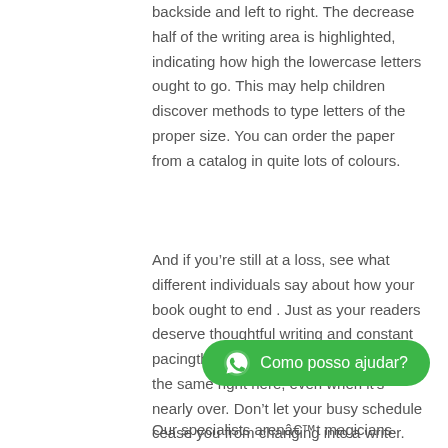backside and left to right. The decrease half of the writing area is highlighted, indicating how high the lowercase letters ought to go. This may help children discover methods to type letters of the proper size. You can order the paper from a catalog in quite lots of colours.
And if you’re still at a loss, see what different individuals say about how your book ought to end . Just as your readers deserve thoughtful writing and constant pacingthroughoutthe story, they deserve the same right here, even when it’s nearly over. Don’t let your busy schedule cease you from changing into a writer.
[Figure (other): WhatsApp chat button with green background, WhatsApp icon, and text 'Como posso ajudar?']
Our specialists arenât magicians however